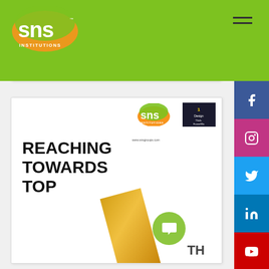[Figure (logo): SNS Institutions logo on green header bar]
in All Over India
[Figure (logo): The Week and Hansa Research 2022 logos with award badge]
[Figure (infographic): REACHING TOWARDS TOP promotional card with SNS Institutions logo and gold stripe]
[Figure (infographic): Social media sidebar with Facebook, Instagram, Twitter, LinkedIn, YouTube icons]